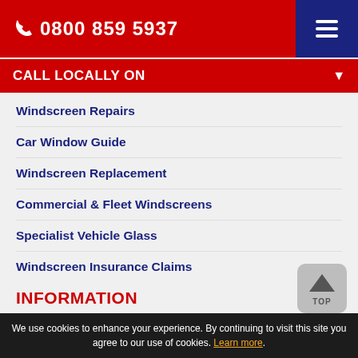0800 859 5937
CALL LOCALLY ON
Windscreen Repairs
Car Window Guide
Windscreen Replacement
Commercial & Fleet Windscreens
Specialist Vehicle Glass
Windscreen Insurance Claims
INFORMATION
Home
We use cookies to enhance your experience. By continuing to visit this site you agree to our use of cookies. Learn more.